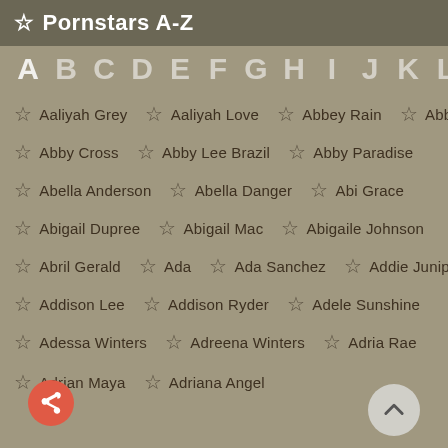☆ Pornstars A-Z
A B C D E F G H I J K L M N O
☆ Aaliyah Grey  ☆ Aaliyah Love  ☆ Abbey Rain  ☆ Abbie Cat
☆ Abby Cross  ☆ Abby Lee Brazil  ☆ Abby Paradise
☆ Abella Anderson  ☆ Abella Danger  ☆ Abi Grace
☆ Abigail Dupree  ☆ Abigail Mac  ☆ Abigaile Johnson
☆ Abril Gerald  ☆ Ada  ☆ Ada Sanchez  ☆ Addie Juniper
☆ Addison Lee  ☆ Addison Ryder  ☆ Adele Sunshine
☆ Adessa Winters  ☆ Adreena Winters  ☆ Adria Rae
☆ Adrian Maya  ☆ Adriana Angel